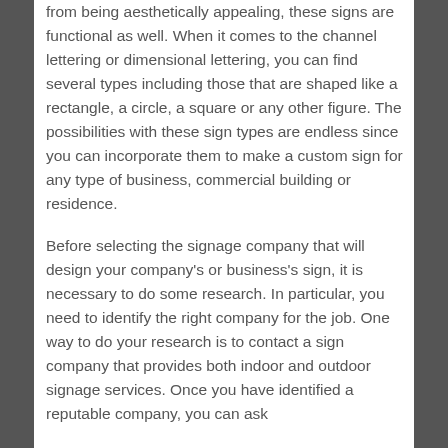from being aesthetically appealing, these signs are functional as well. When it comes to the channel lettering or dimensional lettering, you can find several types including those that are shaped like a rectangle, a circle, a square or any other figure. The possibilities with these sign types are endless since you can incorporate them to make a custom sign for any type of business, commercial building or residence.
Before selecting the signage company that will design your company's or business's sign, it is necessary to do some research. In particular, you need to identify the right company for the job. One way to do your research is to contact a sign company that provides both indoor and outdoor signage services. Once you have identified a reputable company, you can ask